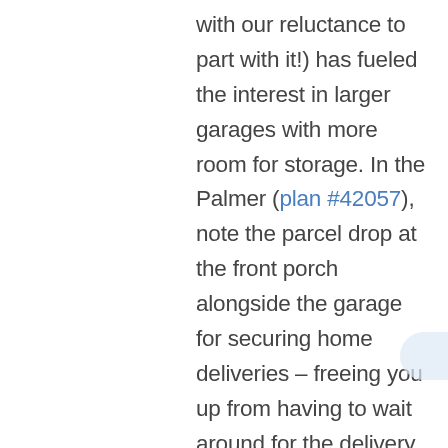with our reluctance to part with it!) has fueled the interest in larger garages with more room for storage. In the Palmer (plan #42057), note the parcel drop at the front porch alongside the garage for securing home deliveries – freeing you up from having to wait around for the delivery driver to pick up/drop off packages for your home-based business. Increased storage extends to the bigger closets in our homes, deep walk-in kitchen pantries and flexible storage areas – particularly those that can be accessed from outside. As a rule of thumb, more square footage is being devoted to storage in today's new homes